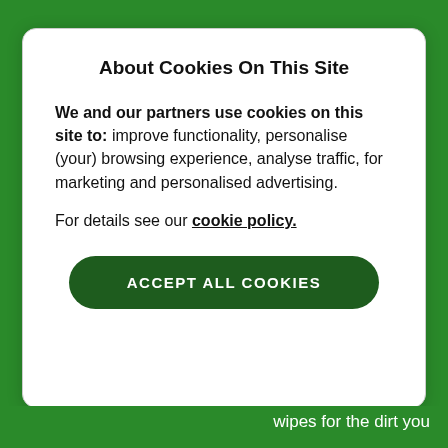About Cookies On This Site
We and our partners use cookies on this site to: improve functionality, personalise (your) browsing experience, analyse traffic, for marketing and personalised advertising.
For details see our cookie policy.
ACCEPT ALL COOKIES
wipes for the dirt you